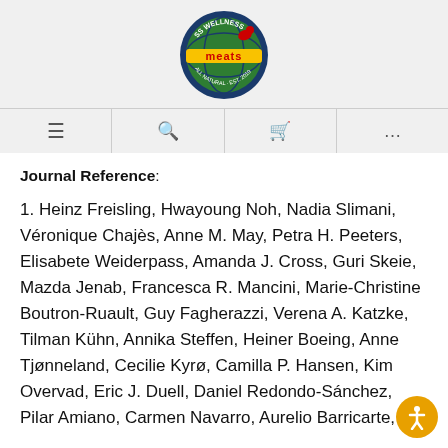[Figure (logo): SS Wellness Meats circular logo with globe and red/green/yellow design]
≡  🔍  🛒  ...
Journal Reference:
1. Heinz Freisling, Hwayoung Noh, Nadia Slimani, Véronique Chajès, Anne M. May, Petra H. Peeters, Elisabete Weiderpass, Amanda J. Cross, Guri Skeie, Mazda Jenab, Francesca R. Mancini, Marie-Christine Boutron-Ruault, Guy Fagherazzi, Verena A. Katzke, Tilman Kühn, Annika Steffen, Heiner Boeing, Anne Tjønneland, Cecilie Kyrø, Camilla P. Hansen, Kim Overvad, Eric J. Duell, Daniel Redondo-Sánchez, Pilar Amiano, Carmen Navarro, Aurelio Barricarte,